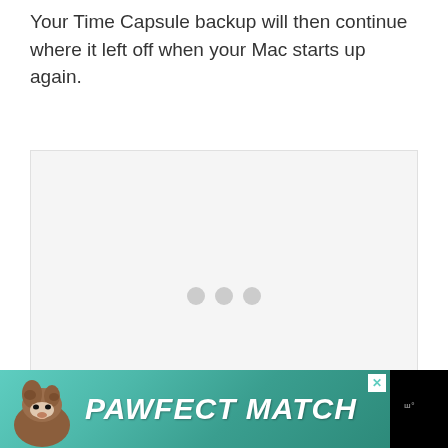Your Time Capsule backup will then continue where it left off when your Mac starts up again.
[Figure (other): Loading placeholder with three grey dots indicating content is loading]
[Figure (other): Advertisement banner showing a dog image with text PAWFECT MATCH on teal background with close button]